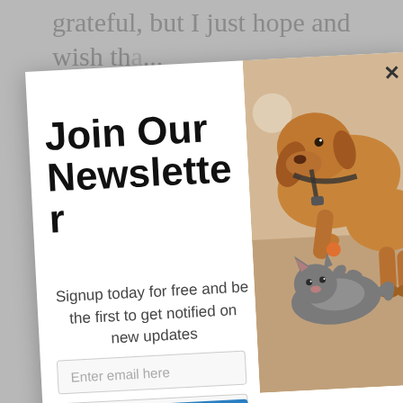grateful, but I just hope and
wish th...
Join Our Newsletter
Signup today for free and be the first to get notified on new updates
[Figure (photo): A large tan dog wearing a harness bending down to interact with a gray cat lying on its back, playing together on a floor]
Enter email here
Enter zip code